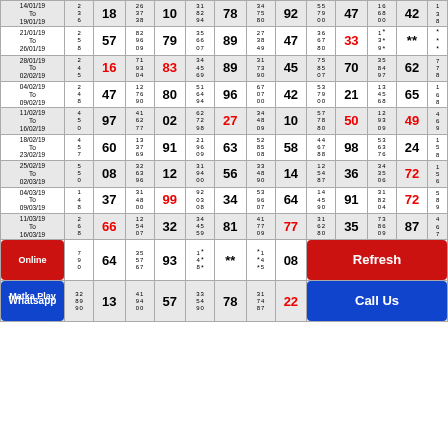| Date | Pair | Num | Pair | Num | Pair | Num | Pair | Num | Pair | Num | Pair | Num |
| --- | --- | --- | --- | --- | --- | --- | --- | --- | --- | --- | --- | --- |
| 14/01/19 To 19/01/19 | 2 3 6 / 3 7 / 3 8 | 18 | 2 6 / 3 7 / 3 8 | 10 | 3 1 / 8 2 / 9 4 | 78 | 3 4 / 7 5 / 8 0 | 92 | 5 5 / 7 9 / 0 0 | 47 | 1 6 / 6 8 / 0 0 | 42 | 1 3 8 |
| 21/01/19 To 26/01/19 | 2 5 8 / 8 2 / 9 6 0 / 9 | 57 | 8 2 / 9 6 / 0 9 | 79 | 3 5 / 6 6 / 0 7 | 89 | 2 7 / 3 8 / 4 9 | 47 | 3 6 / 6 7 / 8 0 | 33 | 1 * / 3 * / 9 * | ** | * * * |
| 28/01/19 To 02/02/19 | 2 4 5 / 7 1 / 9 3 0 4 | 16 | 7 1 / 9 3 / 0 4 | 83 | 3 4 / 4 5 / 6 9 | 89 | 3 1 / 7 3 / 9 0 | 45 | 7 5 / 8 5 / 0 7 | 70 | 3 5 / 8 4 / 9 7 | 62 | 7 7 8 |
| 04/02/19 To 09/02/19 | 2 4 8 / 1 2 / 7 6 0 | 47 | 1 2 / 7 6 / 0 | 80 | 5 1 / 6 4 / 9 4 | 96 | 6 7 / 0 7 / 0 0 | 42 | 5 3 / 7 9 / 0 0 | 21 | 1 3 / 4 5 / 6 8 | 65 | 1 6 8 |
| 11/02/19 To 16/02/19 | 4 5 0 / 4 1 / 6 2 7 7 | 97 | 4 1 / 6 2 / 7 7 | 02 | 6 2 / 7 2 / 9 8 | 27 | 3 4 / 4 8 / 0 9 | 10 | 5 7 / 7 8 / 8 0 | 50 | 1 2 / 9 3 / 0 9 | 49 | 4 6 9 |
| 18/02/19 To 23/02/19 | 4 5 7 / 1 3 / 3 7 6 9 | 60 | 1 3 / 3 7 / 6 9 | 91 | 2 1 / 9 6 / 0 9 | 63 | 5 2 / 8 5 / 0 8 | 58 | 4 4 / 6 7 / 8 8 | 98 | 5 3 / 6 3 / 7 6 | 24 | 1 5 8 |
| 25/02/19 To 02/03/19 | 5 5 0 / 3 2 / 6 3 9 6 | 08 | 3 2 / 6 3 / 9 6 | 12 | 3 1 / 9 4 / 0 0 | 56 | 3 3 / 4 8 / 9 0 | 14 | 1 2 / 5 4 / 8 7 | 36 | 3 4 / 3 5 / 0 6 | 72 | 1 5 6 |
| 04/03/19 To 09/03/19 | 1 4 8 / 3 1 / 4 8 0 0 | 37 | 3 1 / 4 8 / 0 0 | 99 | 9 2 / 0 3 / 0 8 | 34 | 5 3 / 9 6 / 0 7 | 64 | 1 4 / 4 5 / 9 0 | 91 | 3 1 / 8 2 / 0 4 | 72 | 5 8 9 |
| 11/03/19 To 16/03/19 | 2 6 8 / 1 2 / 5 4 0 7 | 66 | 1 2 / 5 4 / 0 7 | 32 | 3 4 / 4 5 / 5 9 | 81 | 4 1 / 7 7 / 0 9 | 77 | 3 1 / 6 2 / 8 0 | 35 | 7 3 / 8 6 / 0 9 | 87 | 4 6 7 |
| Online Matka Play / Button | 7 9 0 /  | 64 | 3 5 / 5 7 / 6 7 | 93 | 1 4 8 / * * * | ** | * * * / 1 4 5 | 08 | Refresh |  |  |  |
| Whatsapp / Button | 3 8 9 / 2 9 0 | 13 | 4 1 / 9 4 / 0 0 | 57 | 3 3 / 5 4 / 9 0 | 78 | 3 7 8 / 1 4 7 | 22 | Call Us |  |  |  |